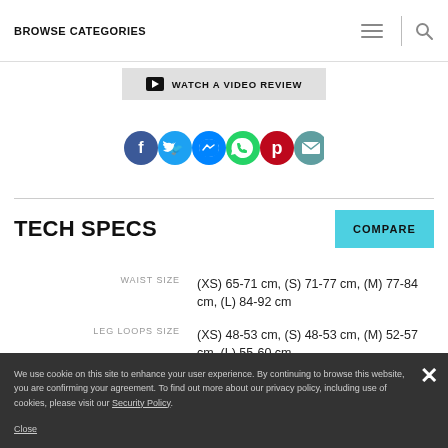BROWSE CATEGORIES
WATCH A VIDEO REVIEW
[Figure (other): Social sharing icons row: Facebook, Twitter, Messenger, WhatsApp, Pinterest, Email]
TECH SPECS
| Spec | Value |
| --- | --- |
| WAIST SIZE | (XS) 65-71 cm, (S) 71-77 cm, (M) 77-84 cm, (L) 84-92 cm |
| LEG LOOPS SIZE | (XS) 48-53 cm, (S) 48-53 cm, (M) 52-57 cm, (L) 55-60 cm |
We use cookie on this site to enhance your user experience. By continuing to browse this website, you are confirming your agreement. To find out more about our privacy policy, including use of cookies, please visit our Security Policy.
Close